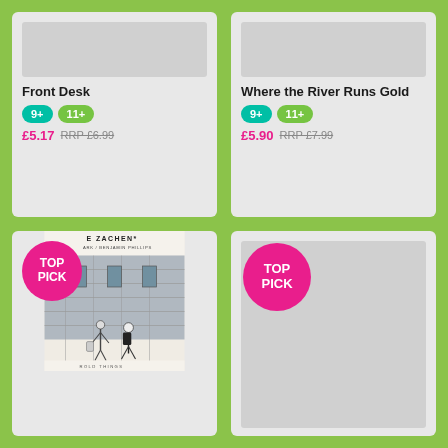[Figure (illustration): Book cover placeholder image (gray rectangle) for Front Desk]
Front Desk
9+  11+
£5.17  RRP £6.99
[Figure (illustration): Book cover placeholder image (gray rectangle) for Where the River Runs Gold]
Where the River Runs Gold
9+  11+
£5.90  RRP £7.99
[Figure (illustration): Book cover for Die Zachen* / Benjamin Phillips - Top Pick badge overlay, sketch-style illustration of two figures in front of a stone building]
[Figure (illustration): Gray placeholder book cover with TOP PICK pink circle badge]